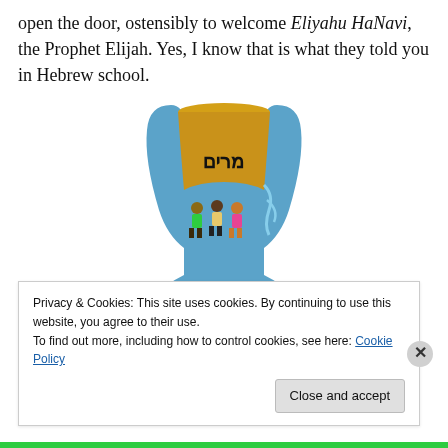open the door, ostensibly to welcome Eliyahu HaNavi, the Prophet Elijah. Yes, I know that is what they told you in Hebrew school.
[Figure (photo): A decorative Kiddush cup (goblet) with a blue enamel exterior featuring Hebrew text 'מרים' and colorful figures of people, with a gold interior, on a blue stem.]
Privacy & Cookies: This site uses cookies. By continuing to use this website, you agree to their use.
To find out more, including how to control cookies, see here: Cookie Policy